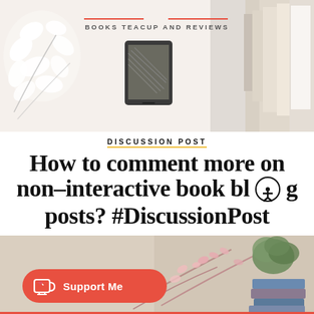[Figure (photo): Top banner photo showing a Kindle e-reader device in the center, white floral decorations on the left, and stacked books on the right, on a white/beige fabric background]
BOOKS TEACUP AND REVIEWS
DISCUSSION POST
How to comment more on non-interactive book blog posts? #DiscussionPost
30 June 2021 / 45 Comments
[Figure (photo): Bottom banner photo showing cherry blossom branches, a green plant, and stacked books on a beige/tan background, with a 'Support Me' button overlay]